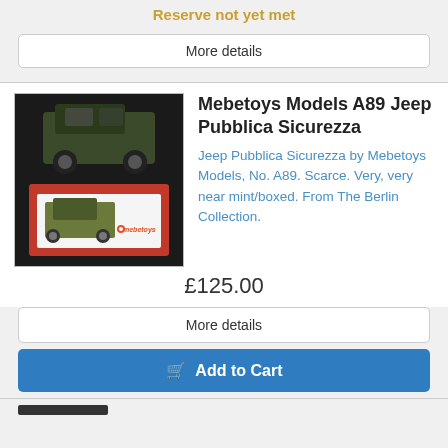Reserve not yet met
More details
Mebetoys Models A89 Jeep Pubblica Sicurezza
Jeep Pubblica Sicurezza by Mebetoys Models, No. A89. Scarce. Very, very near mint/boxed. From The Berlin Collection.
£125.00
More details
Add to Cart